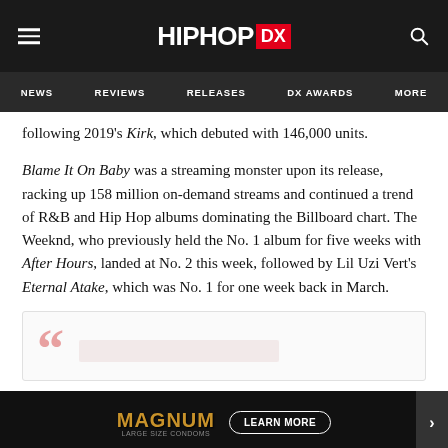HipHopDX — NEWS | REVIEWS | RELEASES | DX AWARDS | MORE
following 2019's Kirk, which debuted with 146,000 units.
Blame It On Baby was a streaming monster upon its release, racking up 158 million on-demand streams and continued a trend of R&B and Hip Hop albums dominating the Billboard chart. The Weeknd, who previously held the No. 1 album for five weeks with After Hours, landed at No. 2 this week, followed by Lil Uzi Vert's Eternal Atake, which was No. 1 for one week back in March.
[Figure (other): Blockquote section with large pink quotation marks and faint placeholder text]
[Figure (other): Magnum advertisement banner with gold text and Learn More button]